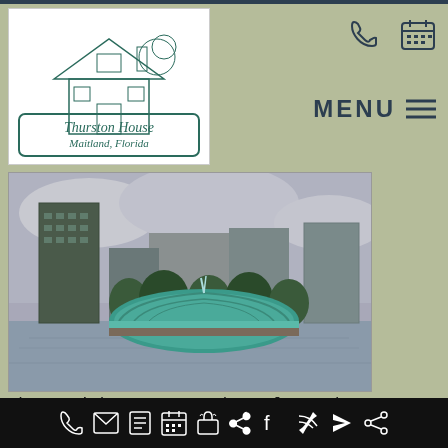[Figure (logo): Thurston House, Maitland Florida logo — line drawing of a Victorian house with decorative border]
[Figure (other): Phone icon and calendar icon in dark teal]
MENU ≡
[Figure (photo): Photo of the ampitheater at Lake Eola Park — a teal dome-shaped ampitheater on a lake with city buildings in background]
The ampitheater at Lake Eola Park,
[Figure (other): Bottom navigation bar with icons: phone, email, notepad, calendar, gift, Facebook, RSS, location arrow, share]